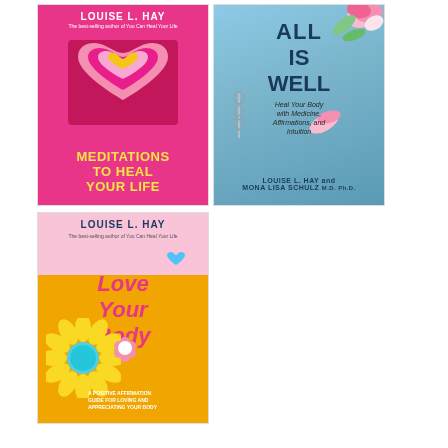[Figure (illustration): Book cover: 'Meditations to Heal Your Life' by Louise L. Hay. Pink/magenta background with concentric heart shapes in the center. Title in yellow bold text at bottom.]
[Figure (illustration): Book cover: 'All Is Well: Heal Your Body with Medicine, Affirmations, and Intuition' by Louise L. Hay and Mona Lisa Schulz M.D., Ph.D. Light blue background with pink flowers/roses.]
[Figure (illustration): Book cover: 'Love Your Body: A Positive Affirmation Guide for Loving and Appreciating Your Body' by Louise L. Hay. Orange/pink background with sunflower illustration. Title in pink italic bold text.]